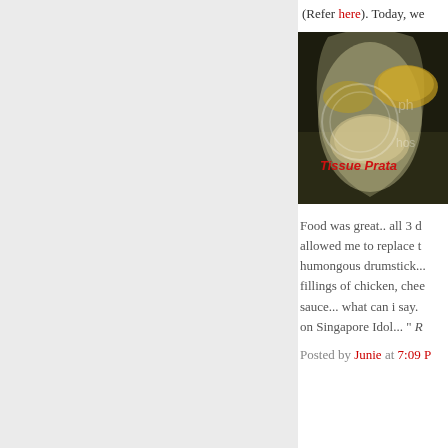(Refer here). Today, we
[Figure (photo): Photo of tissue prata food item in a plastic bag, with red text label 'Tissue Prata' overlaid on the image]
Food was great.. all 3 d allowed me to replace t humongous drumstick... fillings of chicken, chee sauce... what can i say. on Singapore Idol... " R
Posted by Junie at 7:09 P